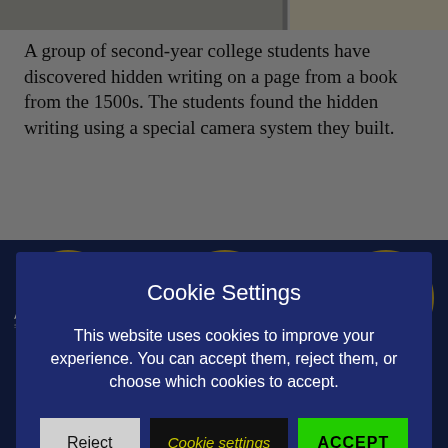[Figure (photo): Top partial photo strip showing a historical book page or document, partially visible at the top of the page]
A group of second-year college students have discovered hidden writing on a page from a book from the 1500s. The students found the hidden writing using a special camera system they built.
[Figure (screenshot): Cookie Settings modal dialog with dark navy background overlaying the page content. Contains title 'Cookie Settings', body text about cookie usage, and three buttons: Reject (gray), Cookie settings (black with yellow italic text), and ACCEPT (green with bold black text).]
[Figure (photo): Bottom photo showing a dark navy background with circular portrait photos of government officials including Antony Blinken (Secretary of State), Alejandro Mayorkas (Secretary of Homeland Security), and Avril Haines (Director of National Intelligence), with more portraits partially visible]